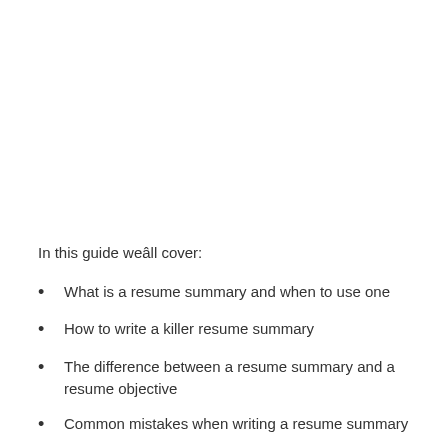In this guide weâll cover:
What is a resume summary and when to use one
How to write a killer resume summary
The difference between a resume summary and a resume objective
Common mistakes when writing a resume summary